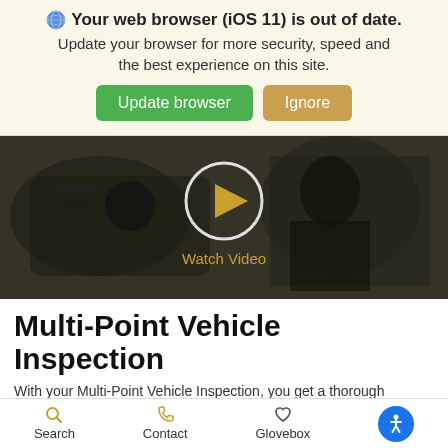🌐 Your web browser (iOS 11) is out of date. Update your browser for more security, speed and the best experience on this site.
Update browser | Ignore
[Figure (screenshot): Dark video thumbnail showing a mechanic working under a vehicle, with a circular play button overlay and 'Watch Video' text in gold/yellow color]
Multi-Point Vehicle Inspection
With your Multi-Point Vehicle Inspection, you get a thorough assessment of your vehicle by the Certified Service experts. So protect yourself and your automotive investment with a
Search   Contact   Glovebox   [accessibility button]